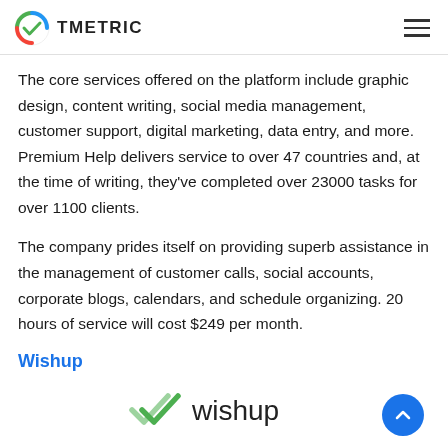TMETRIC
The core services offered on the platform include graphic design, content writing, social media management, customer support, digital marketing, data entry, and more. Premium Help delivers service to over 47 countries and, at the time of writing, they've completed over 23000 tasks for over 1100 clients.
The company prides itself on providing superb assistance in the management of customer calls, social accounts, corporate blogs, calendars, and schedule organizing. 20 hours of service will cost $249 per month.
Wishup
[Figure (logo): Wishup logo with green double-checkmark icon and 'wishup' text in dark color]